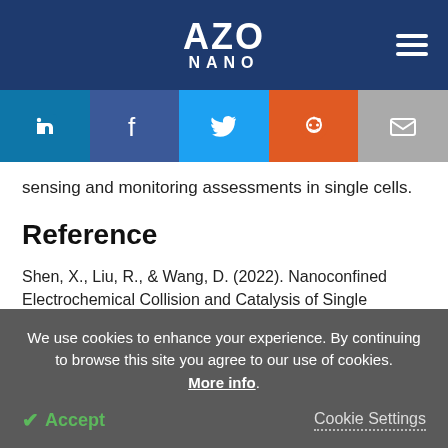AZO NANO
[Figure (infographic): Social media sharing bar with LinkedIn, Facebook, Twitter, Reddit, and Email icons]
sensing and monitoring assessments in single cells.
Reference
Shen, X., Liu, R., & Wang, D. (2022). Nanoconfined Electrochemical Collision and Catalysis of Single Enzyme inside Carbon Nanopipettes. Analytical
We use cookies to enhance your experience. By continuing to browse this site you agree to our use of cookies. More info.
Accept   Cookie Settings